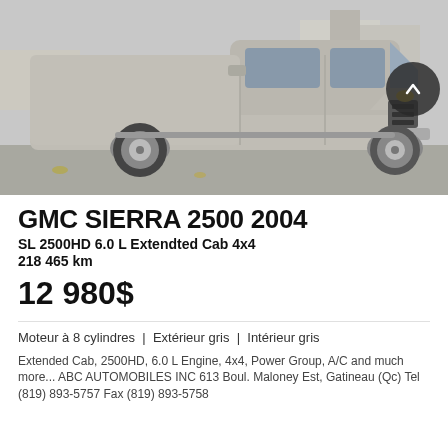[Figure (photo): Silver GMC Sierra 2500 extended cab pickup truck, photographed from the front-left angle in a parking lot. The truck is silver/grey in color with large off-road tires.]
GMC SIERRA 2500 2004
SL 2500HD 6.0 L Extendted Cab 4x4
218 465 km
12 980$
Moteur à 8 cylindres | Extérieur gris | Intérieur gris
Extended Cab, 2500HD, 6.0 L Engine, 4x4, Power Group, A/C and much more... ABC AUTOMOBILES INC 613 Boul. Maloney Est, Gatineau (Qc) Tel (819) 893-5757 Fax (819) 893-5758